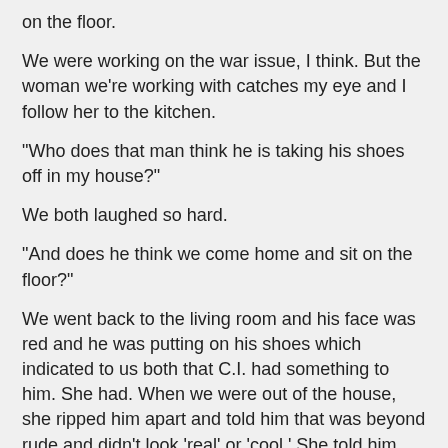on the floor.
We were working on the war issue, I think. But the woman we're working with catches my eye and I follow her to the kitchen.
"Who does that man think he is taking his shoes off in my house?"
We both laughed so hard.
"And does he think we come home and sit on the floor?"
We went back to the living room and his face was red and he was putting on his shoes which indicated to us both that C.I. had something to him. She had. When we were out of the house, she ripped him apart and told him that was beyond rude and didn't look 'real' or 'cool.' She told him that his 'familiarity' actually came off like racism -- intended or not.
That's how I feel when this woman uses "brother" whenever she's talking about an African-American man.